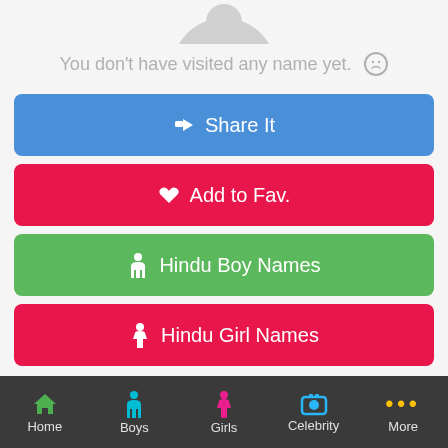[Figure (illustration): Partial gray avatar/person silhouette icon at top center]
You don't have visited any name yet. :(
[Figure (other): Blue Share It button with share icon]
[Figure (other): Red Add to Fav. button with heart icon]
[Figure (other): Green Hindu Boy Names button with male person icon]
[Figure (other): Red Hindu Girl Names button with female person icon]
What is the meaning of Shrivara ?
Home  Boys  Girls  Celebrity  More